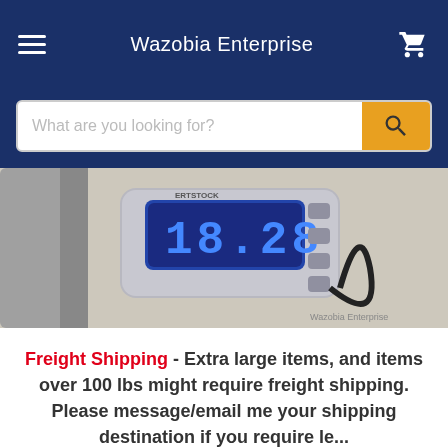Wazobia Enterprise
[Figure (screenshot): Search bar with placeholder text 'What are you looking for?' and an orange search button with magnifying glass icon]
[Figure (photo): Close-up photo of a digital luggage scale showing a blue LCD display with numbers, silver body with buttons, and a black cable loop. Watermark reads 'Wazobia Enterprise']
Freight Shipping - Extra large items, and items over 100 lbs might require freight shipping. Please message/email me your shipping destination if you require le...